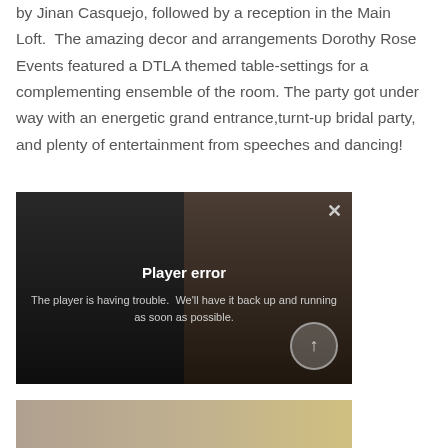by Jinan Casquejo, followed by a reception in the Main Loft.  The amazing decor and arrangements Dorothy Rose Events featured a DTLA themed table-settings for a complementing ensemble of the room. The party got under way with an energetic grand entrance,turnt-up bridal party, and plenty of entertainment from speeches and dancing!
[Figure (screenshot): Video player screenshot showing a bride and groom in a venue, with a 'Player error' overlay message reading 'The player is having trouble. We'll have it back up and running as soon as possible.' with an X close button and an up-arrow circle button.]
[Figure (photo): Partial photo strip at the bottom showing what appears to be jewelry or decorative items in warm golden tones.]